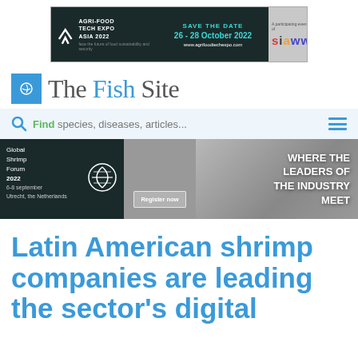[Figure (screenshot): Agri-Food Tech Expo Asia 2022 advertisement banner. Save the Date: 26-28 October 2022, www.agrifoodtechexpo.com. Participating event of siaw.]
[Figure (logo): The Fish Site logo with blue fish icon and serif/sans-serif logotype]
Find species, diseases, articles...
[Figure (screenshot): Global Shrimp Forum 2022 banner. 6-8 september, Utrecht, the Netherlands. Register now. WHERE THE LEADERS OF THE INDUSTRY MEET]
Latin American shrimp companies are leading the sector's digital